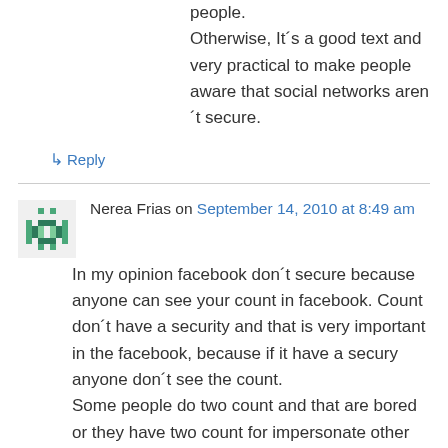people.
Otherwise, It´s a good text and very practical to make people aware that social networks aren´t secure.
↳ Reply
Nerea Frias on September 14, 2010 at 8:49 am
In my opinion facebook don´t secure because anyone can see your count in facebook. Count don´t have a security and that is very important in the facebook, because if it have a secury anyone don´t see the count.
Some people do two count and that are bored or they have two count for impersonate other person.